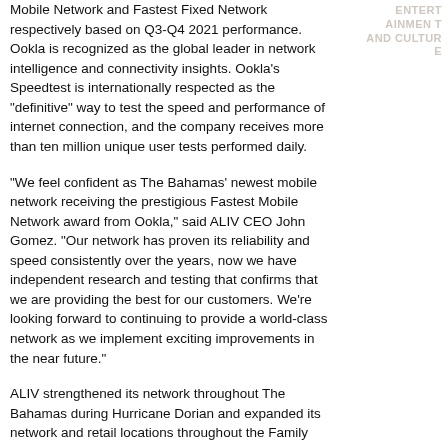Mobile Network and Fastest Fixed Network respectively based on Q3-Q4 2021 performance. Ookla is recognized as the global leader in network intelligence and connectivity insights. Ookla's Speedtest is internationally respected as the "definitive" way to test the speed and performance of internet connection, and the company receives more than ten million unique user tests performed daily.
"We feel confident as The Bahamas' newest mobile network receiving the prestigious Fastest Mobile Network award from Ookla," said ALIV CEO John Gomez. "Our network has proven its reliability and speed consistently over the years, now we have independent research and testing that confirms that we are providing the best for our customers. We're looking forward to continuing to provide a world-class network as we implement exciting improvements in the near future."
ALIV strengthened its network throughout The Bahamas during Hurricane Dorian and expanded its network and retail locations throughout the Family Islands in the past few years. The Speedtest results confirmed ALIV as the Fastest Mobile Network in The Bahamas with an outstanding Speed Score of 33.58.
ENTERTAINMENT AND CULTURE